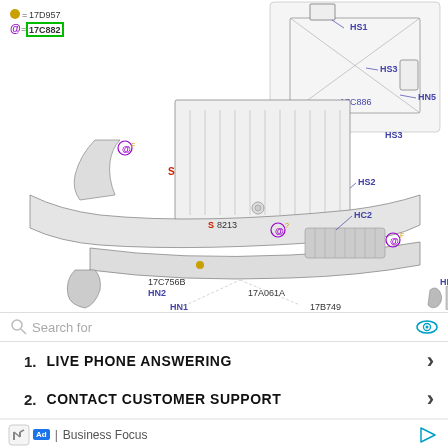[Figure (schematic): Exploded view engineering schematic of a truck front bumper and grille assembly, with labeled parts including HS1, HS2, HS3, HN2, HN3, HN4, HN5, HC1, HC2, HB1, HB2, HB3, HX2, 17C886, 17C756B, 17A061A, 17B749, 8213, and legend markers for part numbers 17D957 and 17C882.]
Search for
1.  LIVE PHONE ANSWERING
2.  CONTACT CUSTOMER SUPPORT
Ad  |  Business Focus